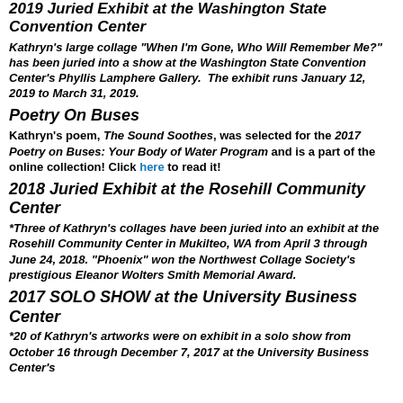2019 Juried Exhibit at the Washington State Convention Center
Kathryn's large collage "When I'm Gone, Who Will Remember Me?" has been juried into a show at the Washington State Convention Center's Phyllis Lamphere Gallery.  The exhibit runs January 12, 2019 to March 31, 2019.
Poetry On Buses
Kathryn's poem, The Sound Soothes, was selected for the 2017 Poetry on Buses: Your Body of Water Program and is a part of the online collection! Click here to read it!
2018 Juried Exhibit at the Rosehill Community Center
*Three of Kathryn's collages have been juried into an exhibit at the Rosehill Community Center in Mukilteo, WA from April 3 through June 24, 2018. "Phoenix" won the Northwest Collage Society's prestigious Eleanor Wolters Smith Memorial Award.
2017 SOLO SHOW at the University Business Center
*20 of Kathryn's artworks were on exhibit in a solo show from October 16 through December 7, 2017 at the University Business Center's